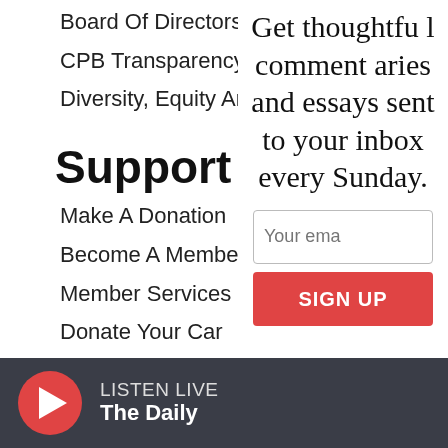Board Of Directors
CPB Transparency
Diversity, Equity And Inclusion
Support WBUR
Make A Donation
Become A Member
Member Services
Donate Your Car
Join The Murrow Society
Become A Sponsor
Get thoughtful commentaries and essays sent to your inbox every Sunday.
Your email
SIGN UP
LISTEN LIVE
The Daily